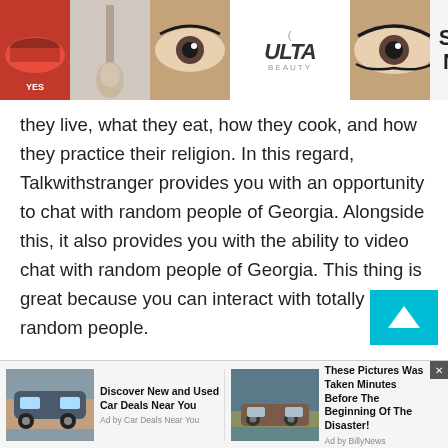[Figure (screenshot): Ulta Beauty banner advertisement with makeup images (lips, brush, eye), Ulta logo, and 'SHOP NOW' call to action]
they live, what they eat, how they cook, and how they practice their religion. In this regard, Talkwithstranger provides you with an opportunity to chat with random people of Georgia. Alongside this, it also provides you with the ability to video chat with random people of Georgia. This thing is great because you can interact with totally random people.

These random people could be maybe the richest of
[Figure (screenshot): Two bottom advertisement units: 'Discover New and Used Car Deals Near You' from Car Deals Near You, and 'These Pictures Was Taken Minutes Before The Beginning Of The Disaster!' from BillyNews]